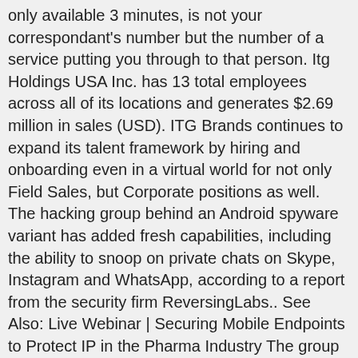only available 3 minutes, is not your correspondant's number but the number of a service putting you through to that person. Itg Holdings USA Inc. has 13 total employees across all of its locations and generates $2.69 million in sales (USD). ITG Brands continues to expand its talent framework by hiring and onboarding even in a virtual world for not only Field Sales, but Corporate positions as well. The hacking group behind an Android spyware variant has added fresh capabilities, including the ability to snoop on private chats on Skype, Instagram and WhatsApp, according to a report from the security firm ReversingLabs.. See Also: Live Webinar | Securing Mobile Endpoints to Protect IP in the Pharma Industry The group suspected of developing the malware, which is known as APT 39 - and … Bachir... Activities: Net Manager develops complex software solutions to answer the rigorous needs of today's businesses. Main owners: •Mr. Activities: Designs and develops full-fledged online reservation systems and solutions. Rafi L Sambolian (Owner). Social media. Lebanon, Software, graphic design and image processing